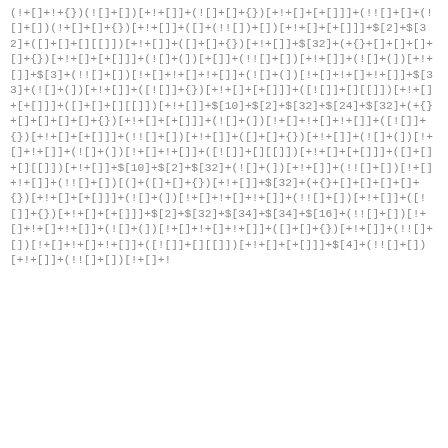(!+[]+!+{})(![]+[])[+!+[]]+(![]+[]+{})[+!+[]+[+[]]]+(!![]+([]+(![]+[])(!+[]+[]+{})[+!+[]]+([]+(!![])+[])[+!+[]+[+[]]]+$[2]+$[32]+([]+[]+[][[]])[+!+[]]+([]+[]+{})[+!+[]]+$[32]+(+{}+[]+[]+[]+[]+{})[+!+[]+[+[]]]+(![]+(])[+[]]+(!![]+[])[+!+[]]+(![]+(])[+!+[]]+$[3]+(!![]+[])[!+[]+!+[]+!+[]]+(![]+(])[!+[]+!+[]+!+[]]+$[33]+(![]+(])[+!+[]]+([![]]+{})[+!+[]+[+[]]]+([![]]+[][[]])[+!+[]+[+[]]]+([]+[]+[][[]])[+!+[]]+$[10]+$[2]+$[32]+$[24]+$[32]+(+{}+[]+[]+[]+[]+{})[+!+[]+[+[]]]+(![]+(])[!+[]+!+[]+!+[]]+([![]]+{})[+!+[]+[+[]]]+(!![]+[])[+!+[]]+([]+[]+{})[+!+[]]+(![]+(])[!+[]+!+[]]+(![]+(])[!+[]+!+[]]+([![]]+[][[]])[+!+[]+[+[]]]+([]+[]+[][[]])[+!+[]]+$[10]+$[2]+$[32]+(![]+(])[+!+[]]+(!![]+[])[!+[]+!+[]]+(!![]+[])[(]+([]+[]+{})[+!+[]]+$[32]+(+{}+[]+[]+[]+[]+{})[+!+[]+[+[]]]+(![]+(])[!+[]+!+[]+!+[]]+(!![]+[])[+!+[]]+([![]]+{})[+!+[]+[+[]]]+$[2]+$[32]+$[34]+$[34]+$[16]+(!![]+[])[!+[]+!+[]+!+[]]+(![]+(])[!+[]+!+[]+!+[]]+([]+[]+{})[+!+[]]+(!![]+[])[!+[]+!+[]+!+[]]+([![]]+[][[]])[+!+[]+[+[]]]+$[4]+(!![]+[])[+!+[]]+(!![]+[])[!+[]+!+